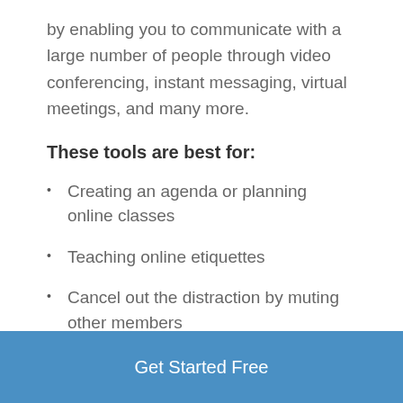by enabling you to communicate with a large number of people through video conferencing, instant messaging, virtual meetings, and many more.
These tools are best for:
Creating an agenda or planning online classes
Teaching online etiquettes
Cancel out the distraction by muting other members
Sharing presentations by helping everyone take down notes
Get Started Free